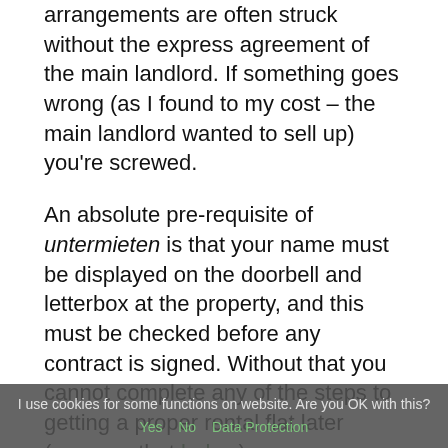arrangements are often struck without the express agreement of the main landlord. If something goes wrong (as I found to my cost – the main landlord wanted to sell up) you're screwed.
An absolute pre-requisite of untermieten is that your name must be displayed on the doorbell and letterbox at the property, and this must be checked before any contract is signed. Without that you cannot complete any of the steps to getting a proper rental flat later (more on that below).
An alternative option is to move to live with others in a Wohngemeinschaft (WG). Here the same attention is needed as when sub-letting, although long term living in a WG is legally possible, but if your aim is to find your own place then again make sure your name is displayed on the doorbell and letter box.
I use cookies for some functions on website. Are you OK with this? Yes  No  Data Protection